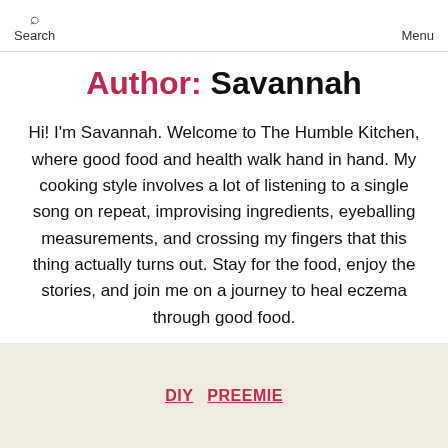Search   The Humble Kitchen   Menu
Author: Savannah
Hi! I'm Savannah. Welcome to The Humble Kitchen, where good food and health walk hand in hand. My cooking style involves a lot of listening to a single song on repeat, improvising ingredients, eyeballing measurements, and crossing my fingers that this thing actually turns out. Stay for the food, enjoy the stories, and join me on a journey to heal eczema through good food.
DIY   PREEMIE